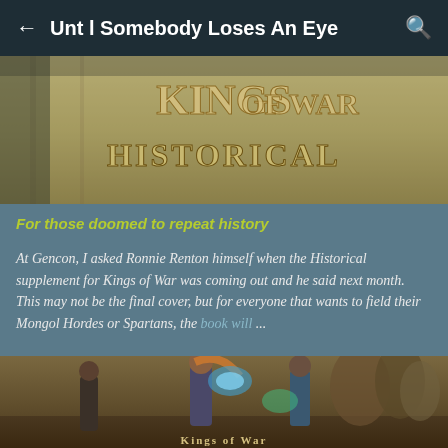Unt l Somebody Loses An Eye
[Figure (photo): Book cover image showing 'Kings of War Historical' text on a stone/parchment background]
For those doomed to repeat history
At Gencon, I asked Ronnie Renton himself when the Historical supplement for Kings of War was coming out and he said next month. This may not be the final cover, but for everyone that wants to field their Mongol Hordes or Spartans, the book will ...
[Figure (illustration): Fantasy battle scene illustration showing warriors including a female mage with glowing blue magic, an archer, and large monsters, with 'Kings of War' game logo partially visible at bottom]